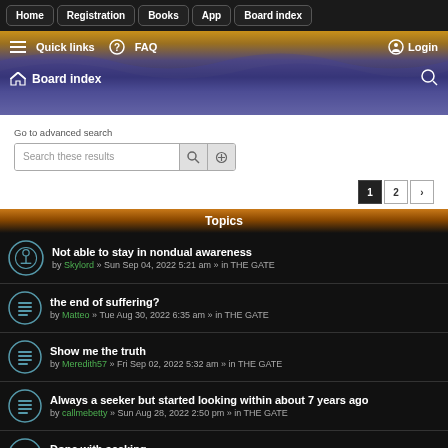Home | Registration | Books | App | Board index
Quick links | FAQ | Login | Board index
Go to advanced search
Search these results
Page 1 2 >
Topics
Not able to stay in nondual awareness
by Skylord » Sun Sep 04, 2022 5:21 am » in THE GATE
the end of suffering?
by Matteo » Tue Aug 30, 2022 6:35 am » in THE GATE
Show me the truth
by Meredith57 » Fri Sep 02, 2022 5:32 am » in THE GATE
Always a seeker but started looking within about 7 years ago
by callmebetty » Sun Aug 28, 2022 2:50 pm » in THE GATE
Done with seeking
by ipwhite07 » Sun Aug 28, 2022 4:46 am » in THE GATE